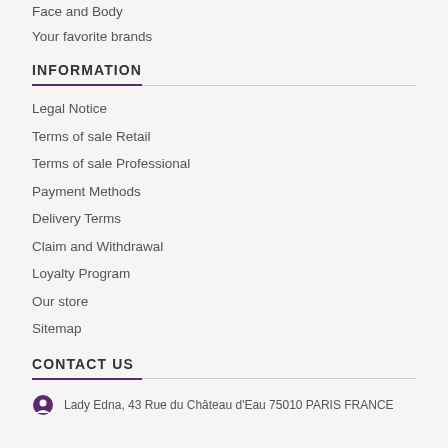Hair care
Face and Body
Your favorite brands
INFORMATION
Legal Notice
Terms of sale Retail
Terms of sale Professional
Payment Methods
Delivery Terms
Claim and Withdrawal
Loyalty Program
Our store
Sitemap
CONTACT US
Lady Edna, 43 Rue du Château d'Eau 75010 PARIS FRANCE